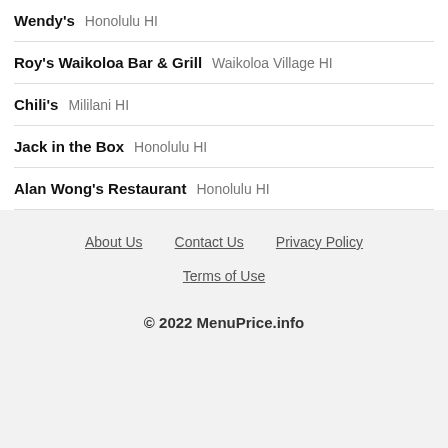Wendy's  Honolulu HI
Roy's Waikoloa Bar & Grill  Waikoloa Village HI
Chili's  Mililani HI
Jack in the Box  Honolulu HI
Alan Wong's Restaurant  Honolulu HI
About Us  Contact Us  Privacy Policy  Terms of Use  © 2022 MenuPrice.info